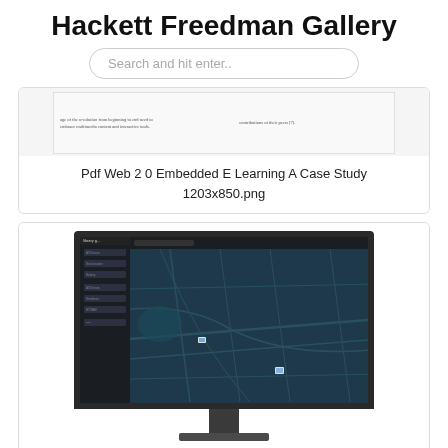Hackett Freedman Gallery
Search and hit enter..
[Figure (screenshot): Thumbnail of a PDF page about Web 2.0 Embedded E-Learning showing two columns of small text]
Pdf Web 2 0 Embedded E Learning A Case Study
1203x850.png
[Figure (screenshot): Screenshot of Utmpro UAS Traffic Management System shown on a dark monitor displaying a map interface with sidebar navigation]
Utmpro Uas Traffic Management System Jahreslizenz Droniq Gmbh
555x740.jpg